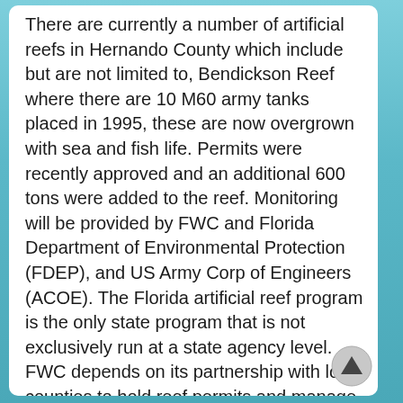There are currently a number of artificial reefs in Hernando County which include but are not limited to, Bendickson Reef where there are 10 M60 army tanks placed in 1995, these are now overgrown with sea and fish life. Permits were recently approved and an additional 600 tons were added to the reef. Monitoring will be provided by FWC and Florida Department of Environmental Protection (FDEP), and US Army Corp of Engineers (ACOE). The Florida artificial reef program is the only state program that is not exclusively run at a state agency level. FWC depends on its partnership with local counties to hold reef permits and manage new reef deployments.
Another artificial reef is reef project #1 which is a shallow reef project with 130 reef balls in